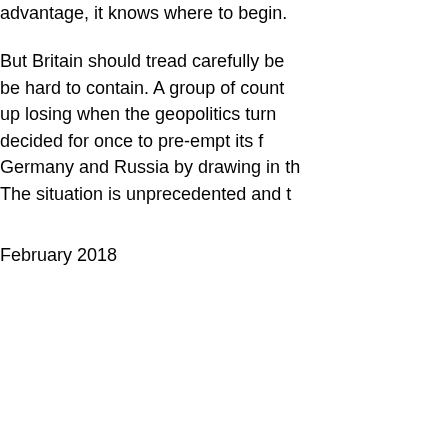advantage, it knows where to begin.

But Britain should tread carefully be be hard to contain. A group of count up losing when the geopolitics turn decided for once to pre-empt its f Germany and Russia by drawing in th The situation is unprecedented and t
February 2018